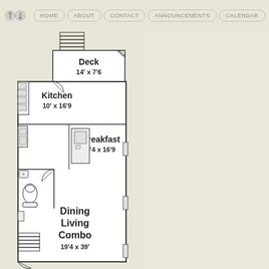HOME | ABOUT | CONTACT | ANNOUNCEMENTS | CALENDAR
[Figure (schematic): Floor plan showing Deck (14' x 7'6), Kitchen (10' x 16'9), Breakfast (9'4 x 16'9), and Dining Living Combo (19'4 x 39') with stairs, bathroom, and door symbols]